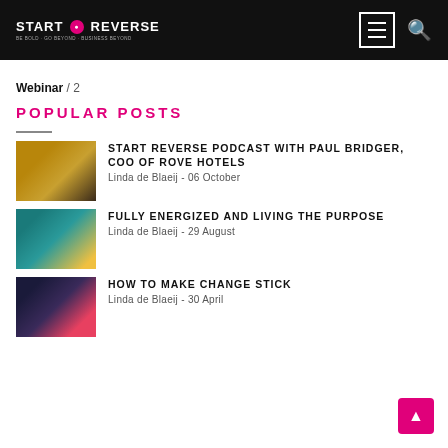START REVERSE (logo) — navigation with menu icon and search
Webinar / 2
POPULAR POSTS
START REVERSE PODCAST WITH PAUL BRIDGER, COO OF ROVE HOTELS — Linda de Blaeij - 06 October
FULLY ENERGIZED AND LIVING THE PURPOSE — Linda de Blaeij - 29 August
HOW TO MAKE CHANGE STICK — Linda de Blaeij - 30 April